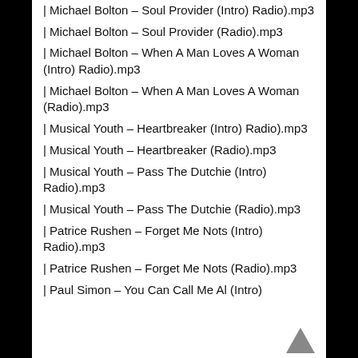| Michael Bolton – Soul Provider (Intro) Radio).mp3
| Michael Bolton – Soul Provider (Radio).mp3
| Michael Bolton – When A Man Loves A Woman (Intro) Radio).mp3
| Michael Bolton – When A Man Loves A Woman (Radio).mp3
| Musical Youth – Heartbreaker (Intro) Radio).mp3
| Musical Youth – Heartbreaker (Radio).mp3
| Musical Youth – Pass The Dutchie (Intro) Radio).mp3
| Musical Youth – Pass The Dutchie (Radio).mp3
| Patrice Rushen – Forget Me Nots (Intro) Radio).mp3
| Patrice Rushen – Forget Me Nots (Radio).mp3
| Paul Simon – You Can Call Me Al (Intro)